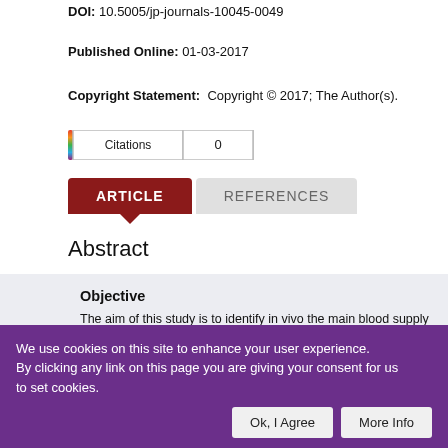DOI: 10.5005/jp-journals-10045-0049
Published Online: 01-03-2017
Copyright Statement: Copyright © 2017; The Author(s).
[Figure (screenshot): Citations widget showing rainbow-colored border with label 'Citations' and count '0']
ARTICLE
REFERENCES
Abstract
Objective
The aim of this study is to identify in vivo the main blood supply to th... determining this aspect and then compare it with radiograph.
Materials and methods
We use cookies on this site to enhance your user experience. By clicking any link on this page you are giving your consent for us to set cookies.